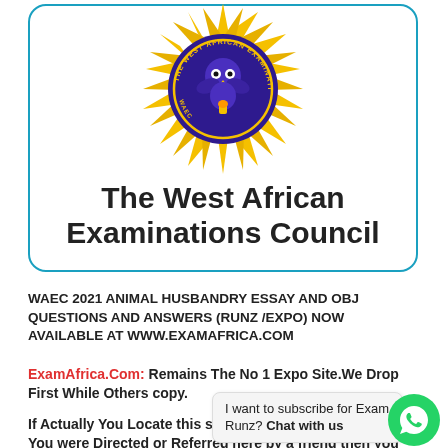[Figure (logo): West African Examinations Council (WAEC) logo — circular emblem with purple/blue background, yellow sun rays, and text around the circle]
The West African Examinations Council
WAEC 2021 ANIMAL HUSBANDRY ESSAY AND OBJ QUESTIONS AND ANSWERS (RUNZ /EXPO) NOW AVAILABLE AT WWW.EXAMAFRICA.COM
ExamAfrica.Com: Remains The No 1 Expo Site.We Drop First While Others copy.
If Actually You Locate this site yourself or You were Directed or Referred here by a friend then you need to thank your Stars for finding the legit and correct